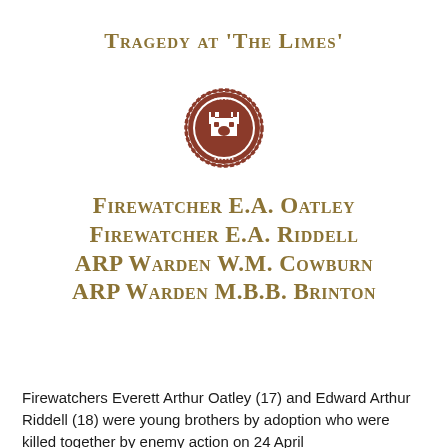Tragedy at 'The Limes'
[Figure (logo): A circular red/brown official seal or emblem with a castle or tower motif in the center and text around the border]
Firewatcher E.A. Oatley
Firewatcher E.A. Riddell
ARP Warden W.M. Cowburn
ARP Warden M.B.B. Brinton
Firewatchers Everett Arthur Oatley (17) and Edward Arthur Riddell (18) were young brothers by adoption who were killed together by enemy action on 24 April